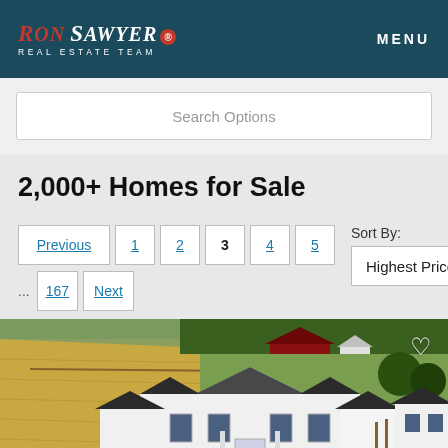Ron Sawyer Real Estate Team | MENU
Search Options
2,000+ Homes for Sale
Previous 1 2 3 4 5 ... 167 Next | Sort By: Highest Price
[Figure (photo): Aerial view of a large white farmhouse with dark roof surrounded by agricultural fields, barns and trees in the background. A heart/favorite icon is visible in the top right corner.]